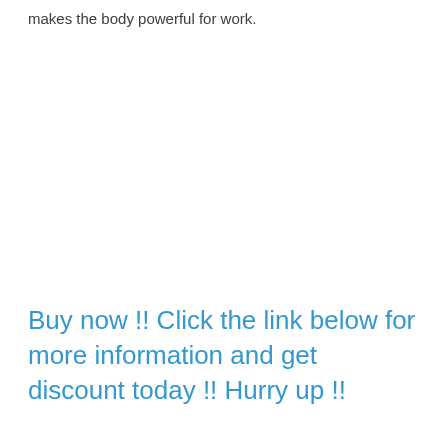makes the body powerful for work.
Buy now !! Click the link below for more information and get discount today !! Hurry up !!